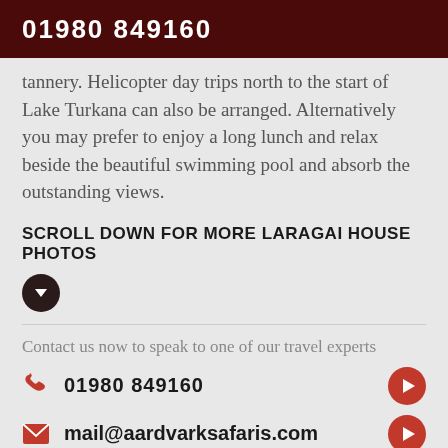01980 849160
tannery. Helicopter day trips north to the start of Lake Turkana can also be arranged. Alternatively you may prefer to enjoy a long lunch and relax beside the beautiful swimming pool and absorb the outstanding views.
SCROLL DOWN FOR MORE LARAGAI HOUSE PHOTOS
Contact us now to speak to one of our travel experts
01980 849160
mail@aardvarksafaris.com
Request a callback